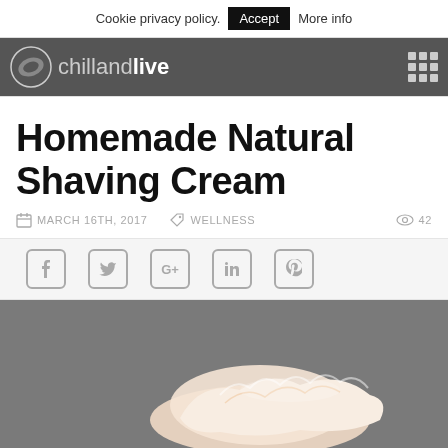Cookie privacy policy.  Accept  More info
chillandlive
Homemade Natural Shaving Cream
MARCH 16TH, 2017   WELLNESS   42
[Figure (other): Social sharing icons: Facebook, Twitter, Google+, LinkedIn, Pinterest]
[Figure (photo): Photo of white shaving cream on a dark gray background]